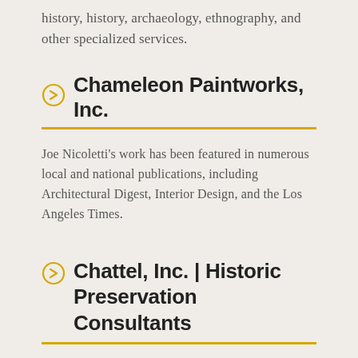history, history, archaeology, ethnography, and other specialized services.
Chameleon Paintworks, Inc.
Joe Nicoletti's work has been featured in numerous local and national publications, including Architectural Digest, Interior Design, and the Los Angeles Times.
Chattel, Inc. | Historic Preservation Consultants